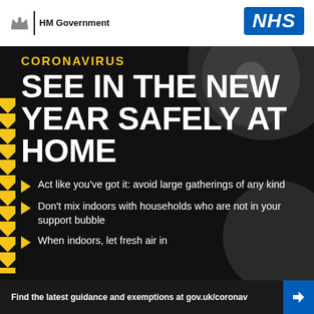[Figure (logo): HM Government crest logo with text 'HM Government' and NHS blue badge logo on white header bar]
CORONAVIRUS
SEE IN THE NEW YEAR SAFELY AT HOME
Act like you've got it: avoid large gatherings of any kind
Don't mix indoors with households who are not in your support bubble
When indoors, let fresh air in
Find the latest guidance and exemptions at gov.uk/coronavirus